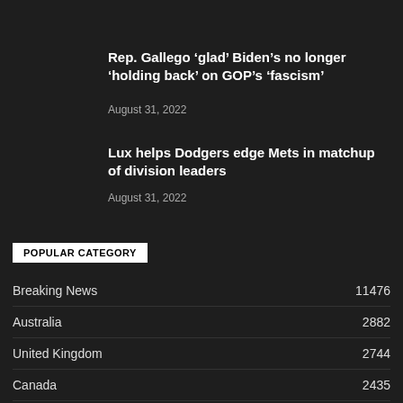Rep. Gallego ‘glad’ Biden’s no longer ‘holding back’ on GOP’s ‘fascism’
August 31, 2022
Lux helps Dodgers edge Mets in matchup of division leaders
August 31, 2022
POPULAR CATEGORY
Breaking News  11476
Australia  2882
United Kingdom  2744
Canada  2435
Story  1197